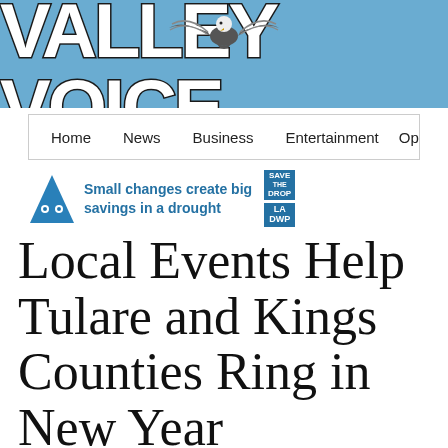Valley Voice
[Figure (infographic): Valley Voice newspaper masthead logo with eagle graphic on blue background, white bold outlined text reading VALLEY VOICE]
Home  News  Business  Entertainment  Opinion
[Figure (infographic): Advertisement banner: blue triangle mascot with eyes, text 'Small changes create big savings in a drought', Save the Drop and LA DWP logos]
Local Events Help Tulare and Kings Counties Ring in New Year